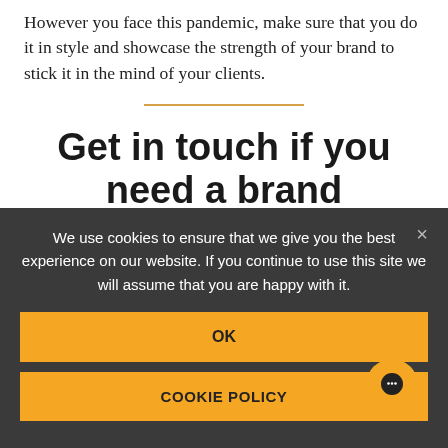However you face this pandemic, make sure that you do it in style and showcase the strength of your brand to stick it in the mind of your clients.
Get in touch if you need a brand revamp, help creating a strong
We use cookies to ensure that we give you the best experience on our website. If you continue to use this site we will assume that you are happy with it.
OK
COOKIE POLICY